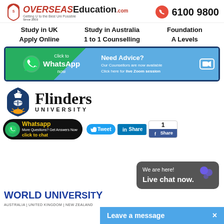[Figure (logo): OverseasEducation.com logo with tagline 'Getting U to the Best Uni Possible' and phone number 6100 9800]
Study in UK
Study in Australia
Foundation
Apply Online
1 to 1 Counselling
A Levels
[Figure (infographic): Click to WhatsApp now | Need Advice? Our Counsellors are now available. Click here for live Zoom session banner]
[Figure (logo): Flinders University logo with shield and ship]
[Figure (infographic): Whatsapp chat button: More Questions? Get Answers Now, click to chat]
[Figure (infographic): Tweet, Share on LinkedIn, Share on Facebook social buttons with count 1]
[Figure (infographic): Live chat bubble: We are here! Live chat now.]
WORLD UNIVERSITY
AUSTRALIA | UNITED KINGDOM | NEW ZEALAND
[Figure (infographic): Leave a message bar at bottom right]